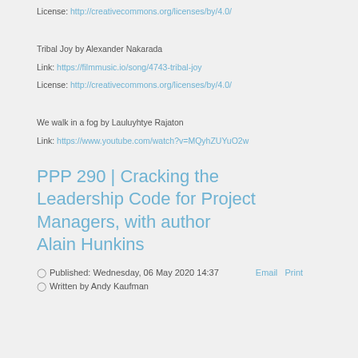License: http://creativecommons.org/licenses/by/4.0/
Tribal Joy by Alexander Nakarada
Link: https://filmmusic.io/song/4743-tribal-joy
License: http://creativecommons.org/licenses/by/4.0/
We walk in a fog by Lauluyhtye Rajaton
Link: https://www.youtube.com/watch?v=MQyhZUYuO2w
PPP 290 | Cracking the Leadership Code for Project Managers, with author Alain Hunkins
Published: Wednesday, 06 May 2020 14:37
Written by Andy Kaufman